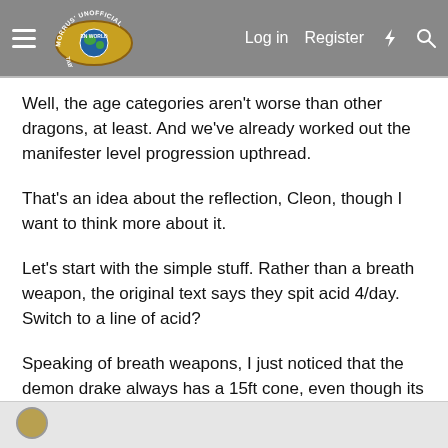Morrus' Unofficial Tabletop RPG News — Log in  Register
Well, the age categories aren't worse than other dragons, at least. And we've already worked out the manifester level progression upthread.
That's an idea about the reflection, Cleon, though I want to think more about it.
Let's start with the simple stuff. Rather than a breath weapon, the original text says they spit acid 4/day. Switch to a line of acid?
Speaking of breath weapons, I just noticed that the demon drake always has a 15ft cone, even though its size advances from T to S. Is that what we wanted to do?